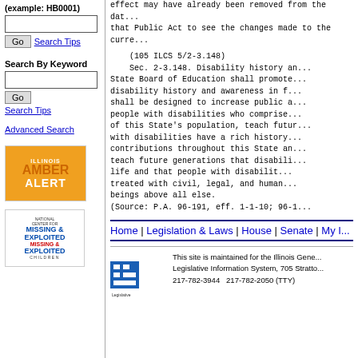(example: HB0001)
Go  Search Tips
Search By Keyword
Go
Search Tips
Advanced Search
[Figure (logo): Illinois Amber Alert logo - orange background with ILLINOIS AMBER ALERT text]
[Figure (logo): National Center for Missing & Exploited Children logo]
effect may have already been removed from the dat... that Public Act to see the changes made to the curre...
(105 ILCS 5/2-3.148)
    Sec. 2-3.148. Disability history an...
State Board of Education shall promote...
disability history and awareness in f...
shall be designed to increase public a...
people with disabilities who comprise...
of this State's population, teach futur...
with disabilities have a rich history...
contributions throughout this State an...
teach future generations that disabili...
life and that people with disabilit...
treated with civil, legal, and human...
beings above all else.
(Source: P.A. 96-191, eff. 1-1-10; 96-1...
Home | Legislation & Laws | House | Senate | My I...
This site is maintained for the Illinois Gene... Legislative Information System, 705 Stratto... 217-782-3944   217-782-2050 (TTY)